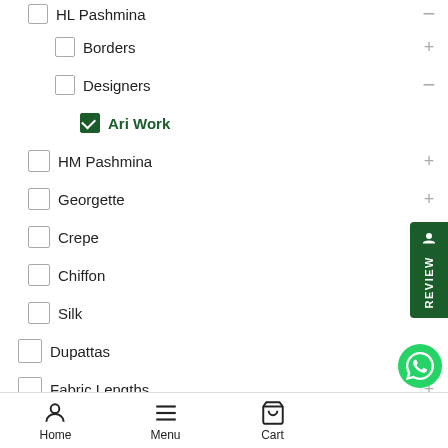HL Pashmina
Borders
Designers
Ari Work (checked)
HM Pashmina
Georgette
Crepe
Chiffon
Silk
Dupattas
Fabric Lengths
Fashion Accessories
Furnishings
Garments
Handicrafts
Gourmet Foods
Antique
Home  Menu  Cart